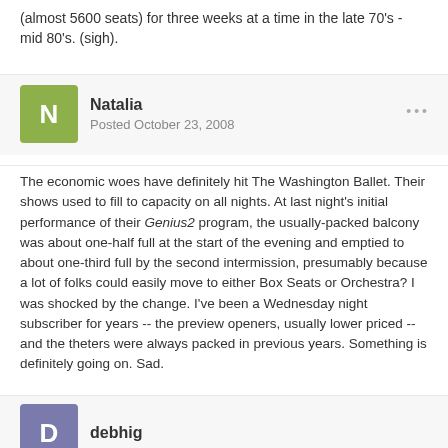(almost 5600 seats) for three weeks at a time in the late 70's - mid 80's. (sigh).
Natalia
Posted October 23, 2008
The economic woes have definitely hit The Washington Ballet. Their shows used to fill to capacity on all nights. At last night's initial performance of their Genius2 program, the usually-packed balcony was about one-half full at the start of the evening and emptied to about one-third full by the second intermission, presumably because a lot of folks could easily move to either Box Seats or Orchestra? I was shocked by the change. I've been a Wednesday night subscriber for years -- the preview openers, usually lower priced -- and the theters were always packed in previous years. Something is definitely going on. Sad.
debhig